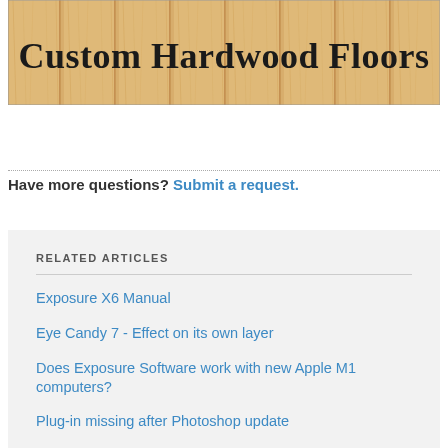[Figure (illustration): Banner image showing a wood floor texture with the text 'Custom Hardwood Floors' in large bold serif font]
Have more questions? Submit a request.
RELATED ARTICLES
Exposure X6 Manual
Eye Candy 7 - Effect on its own layer
Does Exposure Software work with new Apple M1 computers?
Plug-in missing after Photoshop update